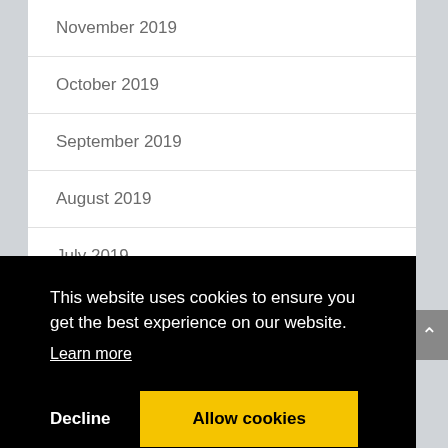November 2019
October 2019
September 2019
August 2019
July 2019
This website uses cookies to ensure you get the best experience on our website.
Learn more
Decline
Allow cookies